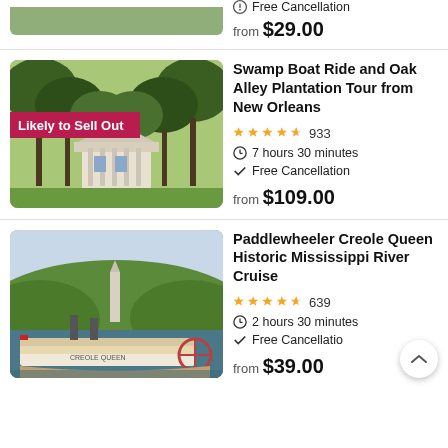[Figure (photo): Partial top card showing bottom of a nature photo and Free Cancellation text with price from $29.00]
Free Cancellation
from $29.00
[Figure (photo): Oak Alley Plantation with tree-lined alley leading to a white antebellum mansion, with Likely to Sell Out badge]
Swamp Boat Ride and Oak Alley Plantation Tour from New Orleans
4.5 stars 933
7 hours 30 minutes
Free Cancellation
from $109.00
[Figure (photo): Paddlewheeler Creole Queen boat on the Mississippi River with green hills and a monument in background]
Paddlewheeler Creole Queen Historic Mississippi River Cruise
4.5 stars 639
2 hours 30 minutes
Free Cancellation
from $39.00